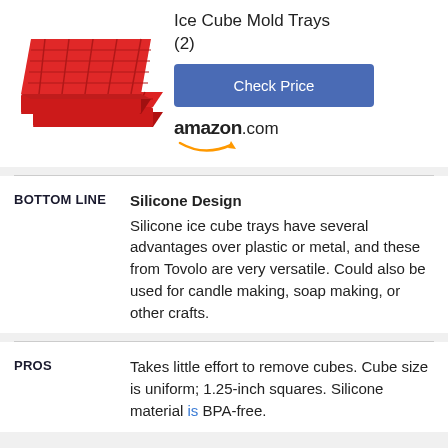[Figure (photo): Two red silicone ice cube mold trays stacked on each other]
Ice Cube Mold Trays (2)
Check Price
[Figure (logo): amazon.com logo with smile arrow]
BOTTOM LINE
Silicone Design
Silicone ice cube trays have several advantages over plastic or metal, and these from Tovolo are very versatile. Could also be used for candle making, soap making, or other crafts.
PROS
Takes little effort to remove cubes. Cube size is uniform; 1.25-inch squares. Silicone material is BPA-free.